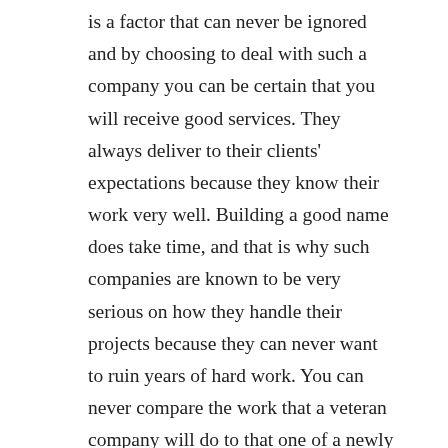is a factor that can never be ignored and by choosing to deal with such a company you can be certain that you will receive good services. They always deliver to their clients' expectations because they know their work very well. Building a good name does take time, and that is why such companies are known to be very serious on how they handle their projects because they can never want to ruin years of hard work. You can never compare the work that a veteran company will do to that one of a newly established company because they differ a lot. That is why such companies have been able to survive the high competition that is there in the industry. Keep in mind that companies are shutting down a lot because of lack of clients, and this is